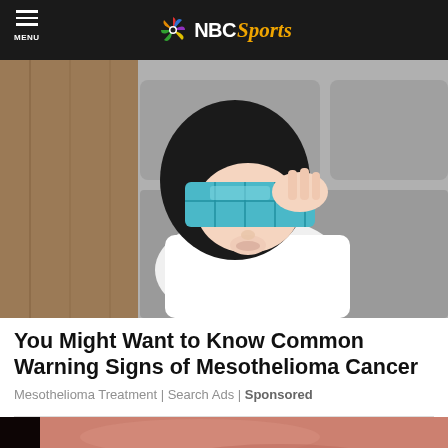NBC Sports
[Figure (photo): Woman lying on a couch holding a blue ice pack over her eyes, wearing a white t-shirt, with dark hair]
You Might Want to Know Common Warning Signs of Mesothelioma Cancer
Mesothelioma Treatment | Search Ads | Sponsored
[Figure (photo): Close-up image of skin or tissue, pinkish-red tones, partially visible]